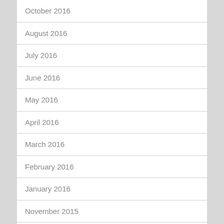October 2016
August 2016
July 2016
June 2016
May 2016
April 2016
March 2016
February 2016
January 2016
November 2015